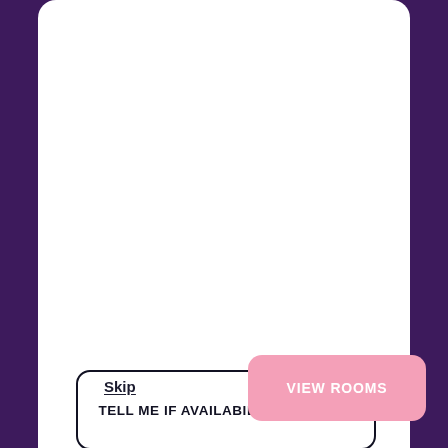[Figure (screenshot): UI screen showing a button labeled TELL ME IF AVAILABILITY CHANGES inside a white card on a dark purple background, with a light grey card below containing a pink bar, and at the bottom a Skip link and a pink VIEW ROOMS button]
TELL ME IF AVAILABILITY CHANGES
Skip
VIEW ROOMS